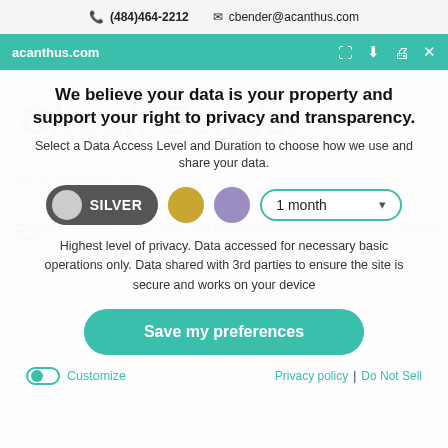(484)464-2212   cbender@acanthus.com
acanthus.com
We believe your data is your property and support your right to privacy and transparency.
Select a Data Access Level and Duration to choose how we use and share your data.
[Figure (infographic): Privacy level selector with Silver pill toggle (active), Gold circle, Purple circle, and a 1 month dropdown]
Highest level of privacy. Data accessed for necessary basic operations only. Data shared with 3rd parties to ensure the site is secure and works on your device
Save my preferences
Customize   Privacy policy  |  Do Not Sell